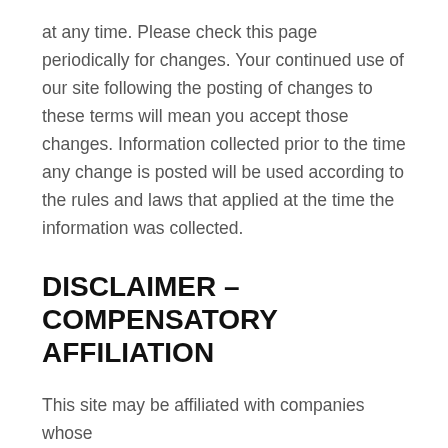at any time. Please check this page periodically for changes. Your continued use of our site following the posting of changes to these terms will mean you accept those changes. Information collected prior to the time any change is posted will be used according to the rules and laws that applied at the time the information was collected.
DISCLAIMER – COMPENSATORY AFFILIATION
This site may be affiliated with companies whose